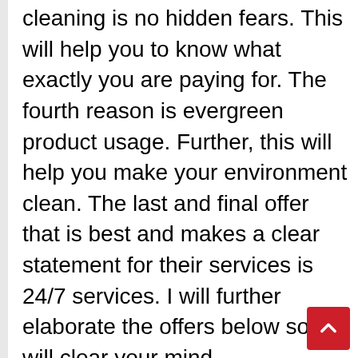cleaning is no hidden fears. This will help you to know what exactly you are paying for. The fourth reason is evergreen product usage. Further, this will help you make your environment clean. The last and final offer that is best and makes a clear statement for their services is 24/7 services. I will further elaborate the offers below so it will clear your mind.
Affordable prices:
This is the most unique feature that makes their services clear so you can further afford their offers. This will